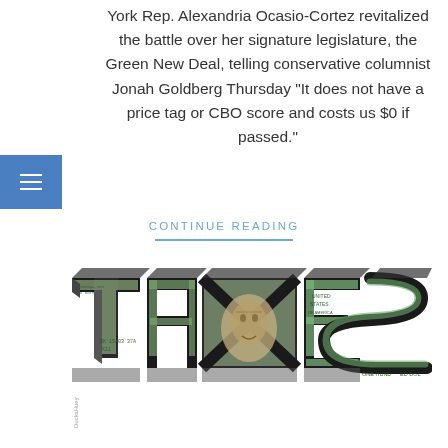York Rep. Alexandria Ocasio-Cortez revitalized the battle over her signature legislature, the Green New Deal, telling conservative columnist Jonah Goldberg Thursday "It does not have a price tag or CBO score and costs us $0 if passed."
CONTINUE READING
[Figure (illustration): 3D block letters spelling 'TAXES' rendered with imagery of US dollar bills ($100 bills featuring Benjamin Franklin), with dark metallic sides and currency-textured faces]